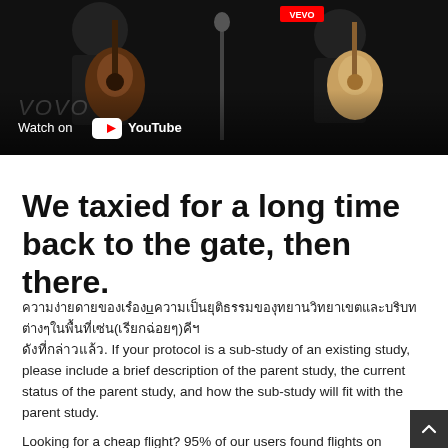[Figure (screenshot): YouTube video thumbnail showing two guitar players in dark setting with 'Watch on YouTube' overlay and VEVO watermark]
We taxied for a long time back to the gate, then there.
If your protocol is a sub-study of an existing study, please include a brief description of the parent study, the current status of the parent study, and how the sub-study will fit with the parent study.
Looking for a cheap flight? 95% of our users found flights on...